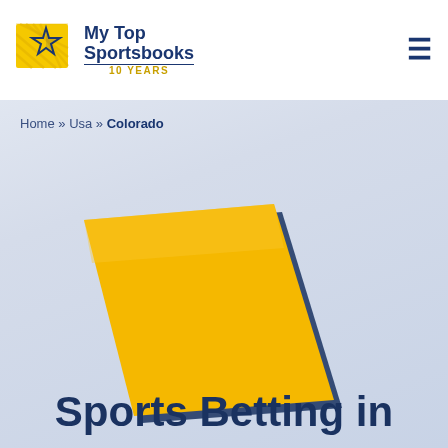[Figure (logo): My Top Sportsbooks logo with star icon and '10 YEARS' text]
Home » Usa » Colorado
[Figure (illustration): Yellow/gold stylized map shape of the state of Colorado, slightly tilted, with a dark blue shadow/border on the bottom-left edge]
Sports Betting in